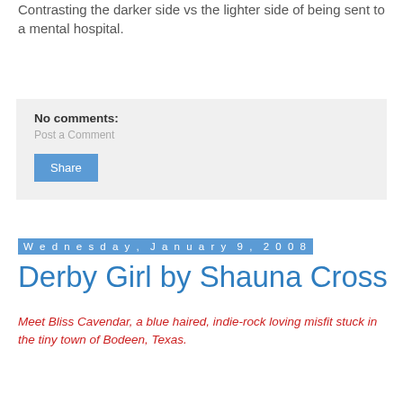Contrasting the darker side vs the lighter side of being sent to a mental hospital.
No comments:
Post a Comment
Share
Wednesday, January 9, 2008
Derby Girl by Shauna Cross
Meet Bliss Cavendar, a blue haired, indie-rock loving misfit stuck in the tiny town of Bodeen, Texas.
Her pageant-addicted mother expects her to compete for the coveted Miss Blue Bonnet crown, but Bliss would rather feast on roaches than be subjected to such rhinestone tyranny.
Bliss' escape? Take up Roller Derby.
When she discovers a league in nearby Austin, Bliss